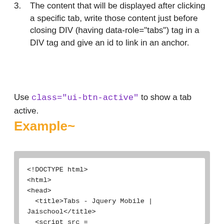3. The content that will be displayed after clicking a specific tab, write those content just before closing DIV (having data-role="tabs") tag in a DIV tag and give an id to link in an anchor.
Use class="ui-btn-active" to show a tab active.
Example~
[Figure (screenshot): Code block showing HTML example with DOCTYPE, html, head, title, and script tags for jQuery Mobile]